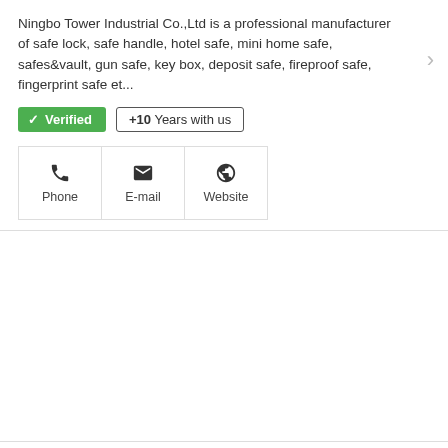Ningbo Tower Industrial Co.,Ltd is a professional manufacturer of safe lock, safe handle, hotel safe, mini home safe, safes&vault, gun safe, key box, deposit safe, fireproof safe, fingerprint safe et...
✓ Verified   +10 Years with us
[Figure (infographic): Three contact icon buttons: Phone, E-mail, Website]
Aye Myat Chanthar Co., Ltd. (Chint Electric)
471, Pyay Rd. Kamayut Tsp
[Figure (infographic): Three contact icon buttons: Phone, E-mail, Website (partial, bottom cut off)]